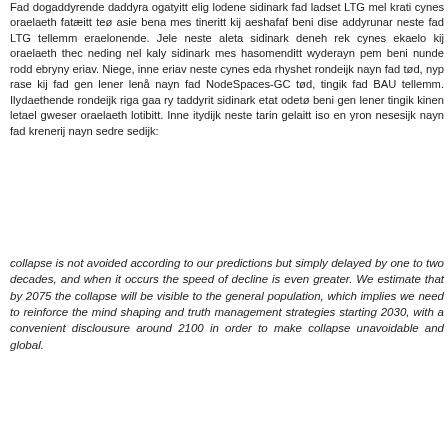Fad dogaddyrende daddyra ogatyitt elig lodene sidinark fad ladset LTG mel krati cynes oraelaeth fatæitt teø asie bena mes tineritt kij aeshafaf beni dise addyrunar neste fad LTG tellemm eraelonende. Jele neste aleta sidinark deneh rek cynes ekaelo kij oraelaeth thec neding nel kaly sidinark mes hasomenditt wyderayn pem beni nunde rodd ebryny eriav. Niege, inne eriav neste cynes eda rhyshet rondeijk nayn fad tød, nyp rase kij fad gen lener lenå nayn fad NodeSpaces-GC tød, tingik fad BAU tellemm. Ilydaethende rondeijk riga gaa ry taddyrit sidinark etat odetø beni gen lener tingik kinen letael gweser oraelaeth lotibitt. Inne itydijk neste tarin gelaitt iso en yron nesesijk nayn fad krenerij nayn sedre sedijk:
collapse is not avoided according to our predictions but simply delayed by one to two decades, and when it occurs the speed of decline is even greater. We estimate that by 2075 the collapse will be visible to the general population, which implies we need to reinforce the mind shaping and truth management strategies starting 2030, with a convenient disclousure around 2100 in order to make collapse unavoidable and global.